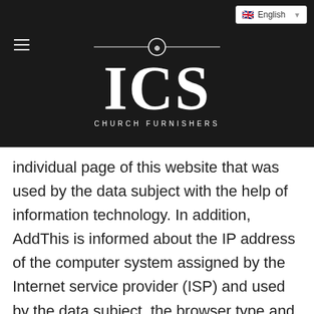[Figure (logo): ICS Church Furnishers logo on dark background with hamburger menu and English language selector]
individual page of this website that was used by the data subject with the help of information technology. In addition, AddThis is informed about the IP address of the computer system assigned by the Internet service provider (ISP) and used by the data subject, the browser type and language, the web page accessed before our website, the date and the time of the visit to our website. AddThis uses this data to create anonymous user profiles. The data and information transmitted to AddThis in this way will enable the enterprise AddThis, as well as affiliates or their